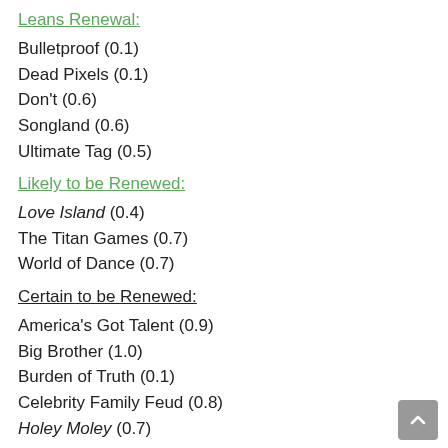Leans Renewal:
Bulletproof (0.1)
Dead Pixels (0.1)
Don't (0.6)
Songland (0.6)
Ultimate Tag (0.5)
Likely to be Renewed:
Love Island (0.4)
The Titan Games (0.7)
World of Dance (0.7)
Certain to be Renewed:
America's Got Talent (0.9)
Big Brother (1.0)
Burden of Truth (0.1)
Celebrity Family Feud (0.8)
Holey Moley (0.7)